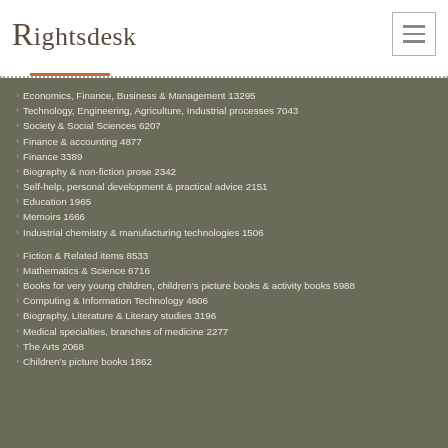[Figure (logo): Rightsdesk logo with serif typeface]
Economics, Finance, Business & Management 13295
Technology, Engineering, Agriculture, Industrial processes 7043
Society & Social Sciences 6207
Finance & accounting 4877
Finance 3389
Biography & non-fiction prose 2342
Self-help, personal development & practical advice 2151
Education 1965
Memoirs 1666
Industrial chemistry & manufacturing technologies 1506
Fiction & Related items 8533
Mathematics & Science 6716
Books for very young children, children's picture books & activity books 5988
Computing & Information Technology 4606
Biography, Literature & Literary studies 3196
Medical specialties, branches of medicine 2277
The Arts 2068
Children's picture books 1862